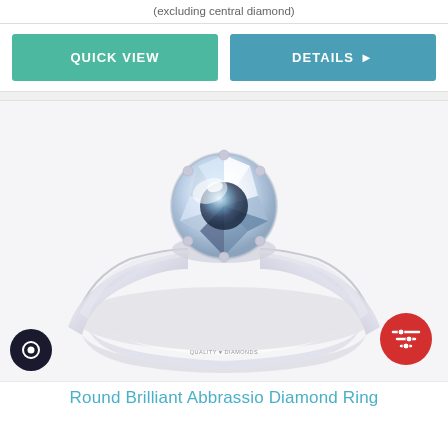(excluding central diamond)
QUICK VIEW
DETAILS ▶
[Figure (photo): A round brilliant cut diamond solitaire engagement ring in white gold or platinum, featuring a six-prong setting holding a large round brilliant diamond, shown against a light grey background. The ring band has 'QUALITY DIAMONDS' engraved on the inside. There is a red circular filter button in the bottom right and a dark circular chat button in the bottom left.]
Round Brilliant Abbrassio Diamond Ring